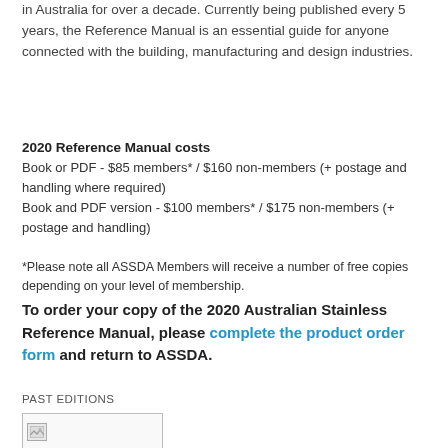in Australia for over a decade. Currently being published every 5 years, the Reference Manual is an essential guide for anyone connected with the building, manufacturing and design industries.
2020 Reference Manual costs
Book or PDF - $85 members* / $160 non-members (+ postage and handling where required)
Book and PDF version - $100 members* / $175 non-members (+ postage and handling)
*Please note all ASSDA Members will receive a number of free copies depending on your level of membership.
To order your copy of the 2020 Australian Stainless Reference Manual, please complete the product order form and return to ASSDA.
PAST EDITIONS
[Figure (photo): Broken/missing image placeholder for past editions book cover]